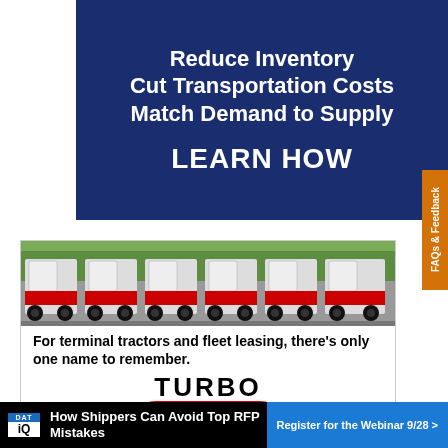[Figure (illustration): Dark blue advertisement banner with white bold text: 'Reduce Inventory / Cut Transportation Costs / Match Demand to Supply / LEARN HOW']
[Figure (photo): Advertisement for Turbo terminal tractors showing a row of white terminal tractors with red stripes parked in a lot. Text reads: 'For terminal tractors and fleet leasing, there's only one name to remember. TURBO' with a red arc/logo beneath.]
[Figure (illustration): Bottom banner advertisement for DAT iQ: 'How Shippers Can Avoid Top RFP Mistakes' with a 'Register for the Webinar 9/28 >' call-to-action button in blue.]